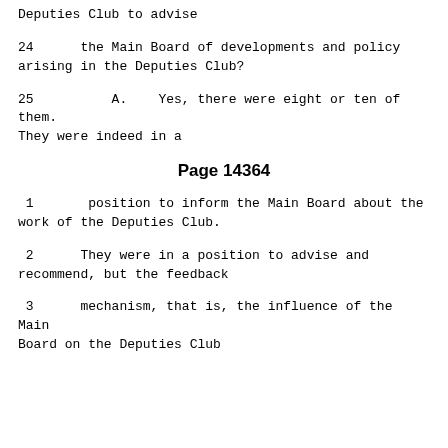Deputies Club to advise
24      the Main Board of developments and policy arising in the Deputies Club?
25          A.    Yes, there were eight or ten of them. They were indeed in a
Page 14364
1       position to inform the Main Board about the work of the Deputies Club.
2       They were in a position to advise and recommend, but the feedback
3       mechanism, that is, the influence of the Main Board on the Deputies Club